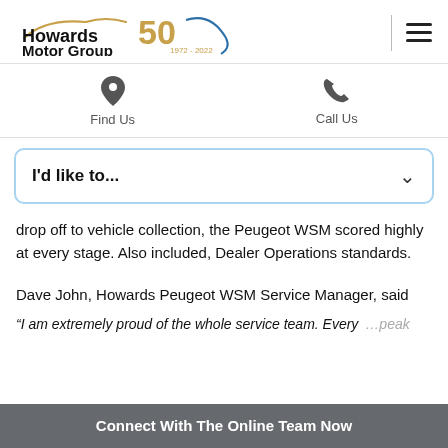[Figure (logo): Howards Motor Group 50th anniversary logo (1972-2022) with car silhouette and golden 50 badge]
[Figure (illustration): Vertical divider line and hamburger menu icon (three horizontal lines)]
[Figure (illustration): Location pin icon with Find Us label]
[Figure (illustration): Phone handset icon with Call Us label]
I'd like to...
drop off to vehicle collection, the Peugeot WSM scored highly at every stage. Also included, Dealer Operations standards.
Dave John, Howards Peugeot WSM Service Manager, said
“I am extremely proud of the whole service team. Every
Connect With The Online Team Now